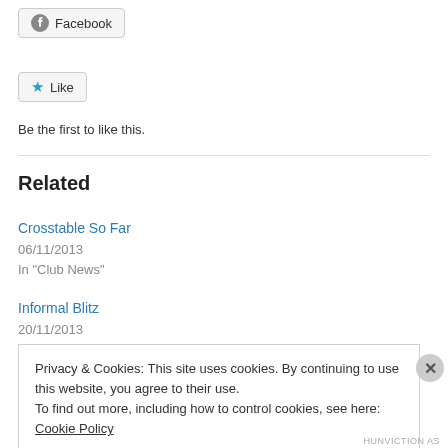[Figure (other): Facebook button with Facebook logo icon]
[Figure (other): Like button with blue star icon]
Be the first to like this.
Related
Crosstable So Far
06/11/2013
In "Club News"
Informal Blitz
20/11/2013
Privacy & Cookies: This site uses cookies. By continuing to use this website, you agree to their use.
To find out more, including how to control cookies, see here: Cookie Policy
Close and accept
HUNVICTION AS